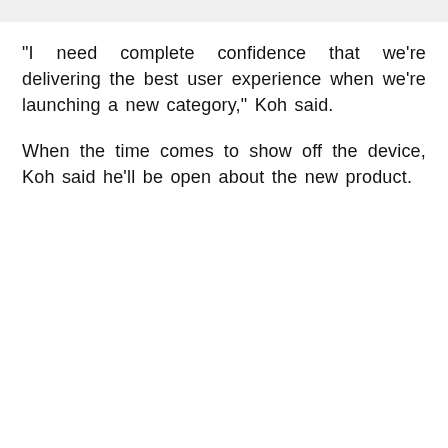"I need complete confidence that we're delivering the best user experience when we're launching a new category," Koh said.
When the time comes to show off the device, Koh said he'll be open about the new product.